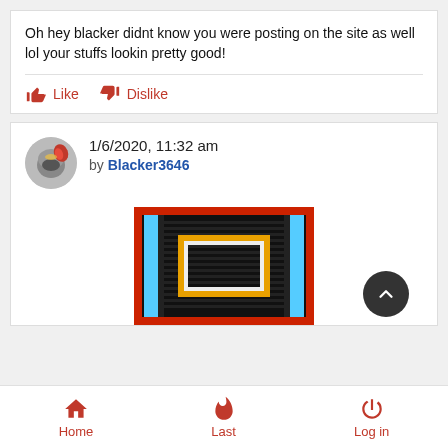Oh hey blacker didnt know you were posting on the site as well lol your stuffs lookin pretty good!
Like   Dislike
1/6/2020, 11:32 am by Blacker3646
[Figure (screenshot): Pixel art image showing a colorful rectangular frame design with red, blue, orange/gold, and white stripes on a black background]
Home   Last   Log in